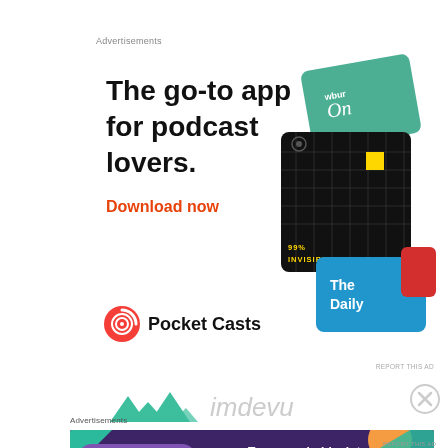Advertisements
[Figure (infographic): Pocket Casts podcast app advertisement showing 'The go-to app for podcast lovers.' headline with Download now CTA and podcast app interface cards illustration including 99% Invisible and The Daily podcasts]
[Figure (logo): imdevu logo with teal/green mountain/arrow icons partially visible]
Advertisements
[Figure (infographic): WooCommerce banner advertisement on dark purple background with teal, orange, and blue decorative shapes. Text: 'Turn your hobby into a business in 8 steps']